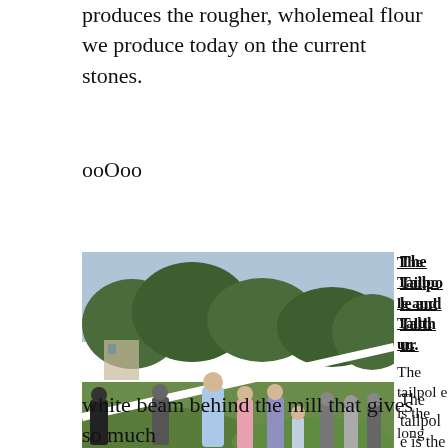produces the rougher, wholemeal flour we produce today on the current stones.
ooOoo
[Figure (photo): Outdoor gathering of people on a grass lawn with trees in the background. A long white beam or pole is being held diagonally across the scene.]
The Tailpole and Talthur.
The tailpole is the long white beam behind the mill that gives so much
for exercising children on; they use the mill